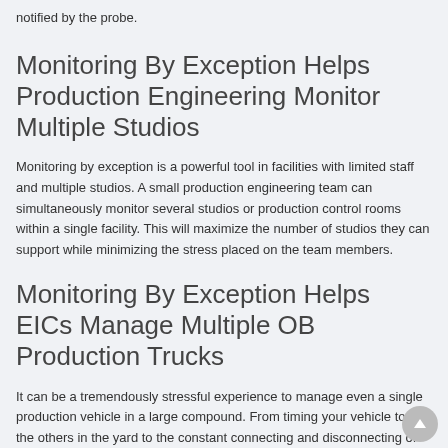notified by the probe.
Monitoring By Exception Helps Production Engineering Monitor Multiple Studios
Monitoring by exception is a powerful tool in facilities with limited staff and multiple studios. A small production engineering team can simultaneously monitor several studios or production control rooms within a single facility. This will maximize the number of studios they can support while minimizing the stress placed on the team members.
Monitoring By Exception Helps EICs Manage Multiple OB Production Trucks
It can be a tremendously stressful experience to manage even a single production vehicle in a large compound. From timing your vehicle to all the others in the yard to the constant connecting and disconnecting of cables, Engineers in Charge (EICs) have a daunting task. Once production